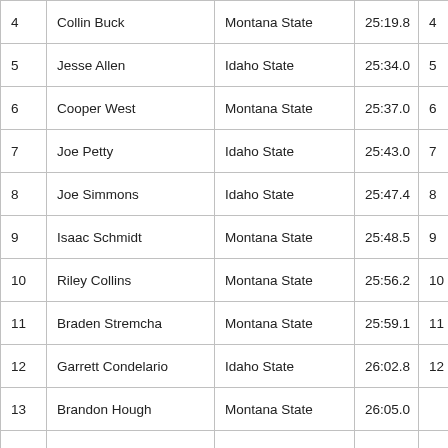| 4 | Collin Buck | Montana State | 25:19.8 | 4 |
| 5 | Jesse Allen | Idaho State | 25:34.0 | 5 |
| 6 | Cooper West | Montana State | 25:37.0 | 6 |
| 7 | Joe Petty | Idaho State | 25:43.0 | 7 |
| 8 | Joe Simmons | Idaho State | 25:47.4 | 8 |
| 9 | Isaac Schmidt | Montana State | 25:48.5 | 9 |
| 10 | Riley Collins | Montana State | 25:56.2 | 10 |
| 11 | Braden Stremcha | Montana State | 25:59.1 | 11 |
| 12 | Garrett Condelario | Idaho State | 26:02.8 | 12 |
| 13 | Brandon Hough | Montana State | 26:05.0 |  |
| 14 | Kyle Peterson | Montana | 26:06.7 | 13 |
| 15 | Kyle Kredo | Montana | 26:07.0 | 14 |
| 16 | Dillon May | Montana | 26:09.1 | 15 |